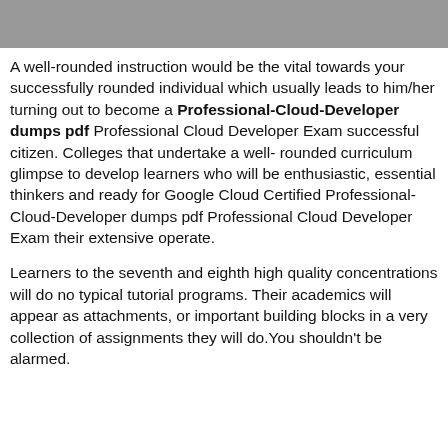[Figure (other): Gray header bar at top of page]
A well-rounded instruction would be the vital towards your successfully rounded individual which usually leads to him/her turning out to become a Professional-Cloud-Developer dumps pdf Professional Cloud Developer Exam successful citizen. Colleges that undertake a well- rounded curriculum glimpse to develop learners who will be enthusiastic, essential thinkers and ready for Google Cloud Certified Professional-Cloud-Developer dumps pdf Professional Cloud Developer Exam their extensive operate.
Learners to the seventh and eighth high quality concentrations will do no typical tutorial programs. Their academics will appear as attachments, or important building blocks in a very collection of assignments they will do.You shouldn't be alarmed.